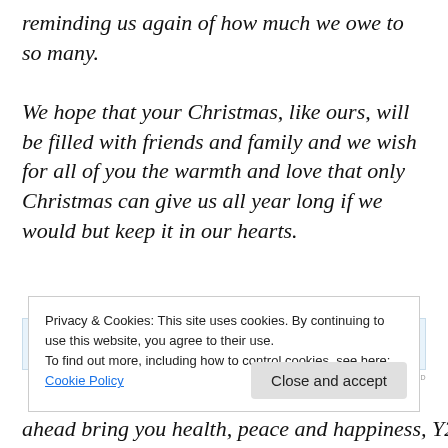reminding us again of how much we owe to so many.
We hope that your Christmas, like ours, will be filled with friends and family and we wish for all of you the warmth and love that only Christmas can give us all year long if we would but keep it in our hearts.
Post on the go.
REPORT THIS AD
Privacy & Cookies: This site uses cookies. By continuing to use this website, you agree to their use.
To find out more, including how to control cookies, see here: Cookie Policy
Close and accept
ahead bring you health, peace and happiness, Y2K